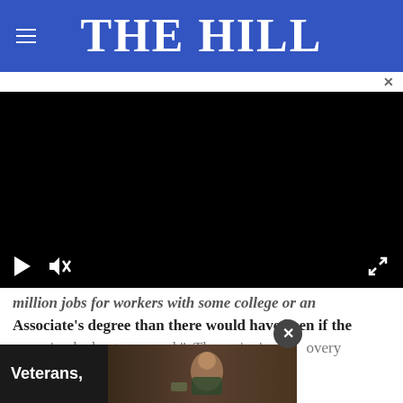THE HILL
[Figure (screenshot): Black video player with play and mute controls at bottom left and expand icon at bottom right]
million jobs for workers with some college or an Associate's degree than there would have been if the recession had not occurred." The nation's recovery from t[he recession...] middl[e...]
[Figure (photo): Advertisement banner showing 'Veterans,' text with a photo of a person seated at a table]